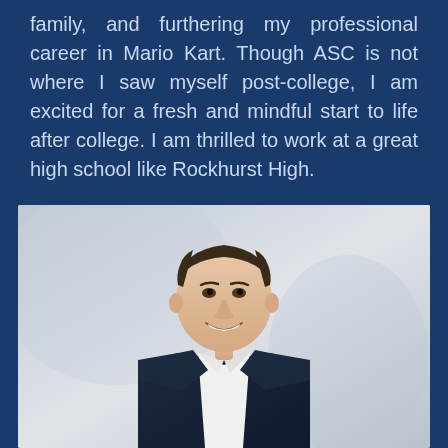family, and furthering my professional career in Mario Kart. Though ASC is not where I saw myself post-college, I am excited for a fresh and mindful start to life after college. I am thrilled to work at a great high school like Rockhurst High.
[Figure (photo): Professional headshot of a young man with short dark hair, wearing a dark navy blazer over a white dress shirt, smiling broadly, photographed against a light gray/white background.]